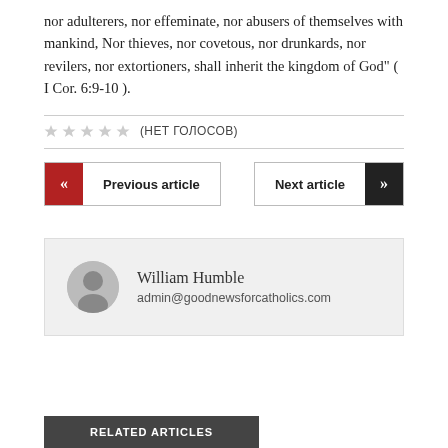nor adulterers, nor effeminate, nor abusers of themselves with mankind, Nor thieves, nor covetous, nor drunkards, nor revilers, nor extortioners, shall inherit the kingdom of God" ( I Cor. 6:9-10 ).
★★★★★ (нет голосов)
« Previous article   Next article »
William Humble
admin@goodnewsforcatholics.com
RELATED ARTICLES